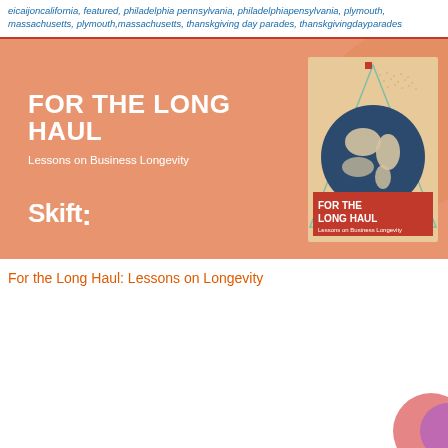eicaijoncalifornia, featured, philadelphia pennsylvania, philadelphiapensylvania, plymouth, massachusetts, plymouth,massachusetts, thanskgiving day parades, thanskgivingdayparades
[Figure (illustration): Orange/salmon colored banner for 'For the Long Haul: Lessons on Business Longevity' by Skift, showing bold white text on the left and a book cover on the right featuring a globe graphic with triangle design elements.]
For the Long Haul: Lessons on Longevity